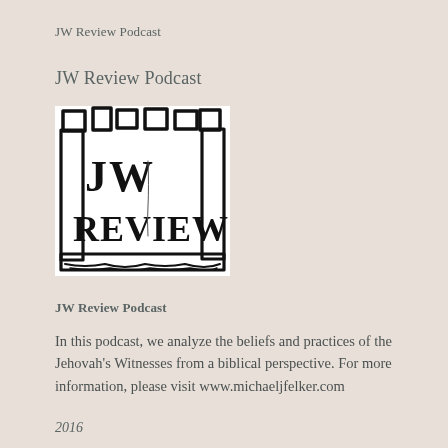JW Review Podcast
JW Review Podcast
[Figure (logo): JW Review Podcast logo: a hand-drawn castle/tower frame in black ink on white background with text 'JW REVIEW' inside]
JW Review Podcast
In this podcast, we analyze the beliefs and practices of the Jehovah's Witnesses from a biblical perspective. For more information, please visit www.michaeljfelker.com
2016